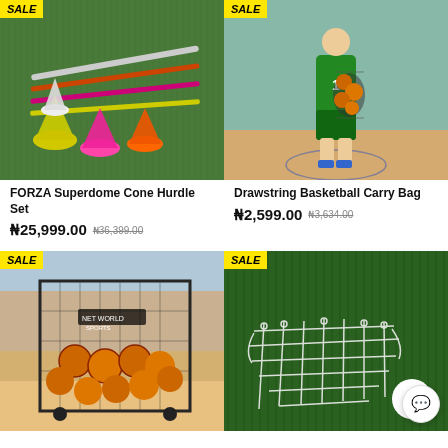[Figure (photo): FORZA Superdome Cone Hurdle Set - colorful training cones (pink, yellow, orange, green, white) with poles on green turf. SALE badge visible.]
[Figure (photo): Drawstring Basketball Carry Bag - basketball player in green jersey #1 standing on indoor court holding a large mesh bag full of basketballs. SALE badge visible.]
FORZA Superdome Cone Hurdle Set
₦25,999.00 ₦36,399.00
Drawstring Basketball Carry Bag
₦2,599.00 ₦3,634.00
[Figure (photo): Large metal wire ball cart filled with basketballs outdoors. SALE badge visible.]
[Figure (photo): White basketball net lying on green artificial turf. SALE badge visible. Chat bubble icon in bottom right.]